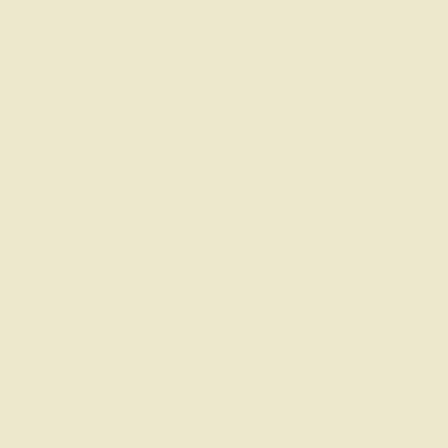that all activities follow a method; the method is arbitrary, but it is important that the method is well defined and documented),
Document all